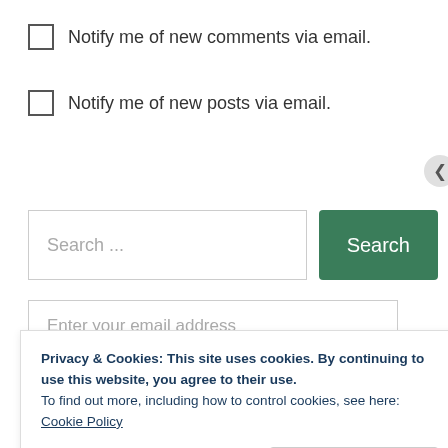Notify me of new comments via email.
Notify me of new posts via email.
Search ...
Search
Enter your email address
Privacy & Cookies: This site uses cookies. By continuing to use this website, you agree to their use.
To find out more, including how to control cookies, see here: Cookie Policy
Close and accept